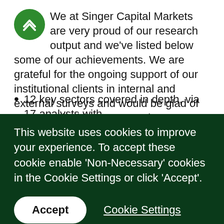We at Singer Capital Markets are very proud of our research output and we've listed below some of our achievements. We are grateful for the ongoing support of our institutional clients in internal and external surveys and would be glad of your vote in this year's Extel survey.
12 key sectors covered in depth, via 17 analysts with
This website uses cookies to improve your experience. To accept these cookie enable 'Non-Necessary' cookies in the Cookie Settings or click 'Accept'.
Accept
Cookie Settings
Read More